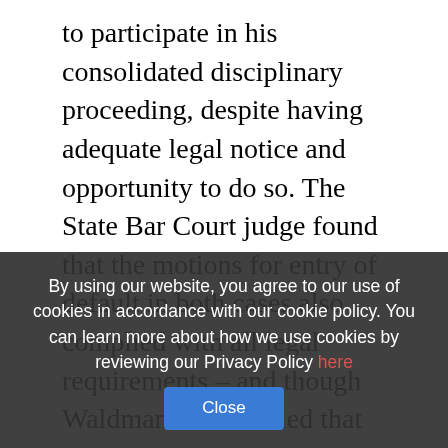to participate in his consolidated disciplinary proceeding, despite having adequate legal notice and opportunity to do so. The State Bar Court judge found that the motions for entry of default in both cases also complied with all legal requirements – and though Waldman was notified that if he did not move to have the defaults set aside, the court would recommend his disbarment, he did not do so.

The judge also found that the factual allegations in the notice of discipline charges s... state court rules (or terms of CTA) — by failing to file a declaration of compliance as ordered in a previous disciplinary order and failing to comply with all probation conditions
By using our website, you agree to our use of cookies in accordance with our cookie policy. You can learn more about how we use cookies by reviewing our Privacy Policy here